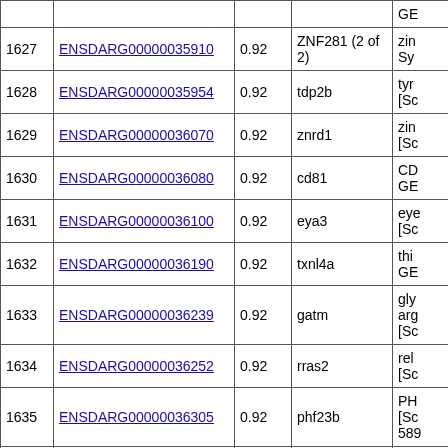| # | Gene ID | Score | Symbol | Description |
| --- | --- | --- | --- | --- |
| 1627 | ENSDARG00000035910 | 0.92 | ZNF281 (2 of 2) | zin... Sy... |
| 1628 | ENSDARG00000035954 | 0.92 | tdp2b | tyr... [Sc... |
| 1629 | ENSDARG00000036070 | 0.92 | znrd1 | zin... [Sc... |
| 1630 | ENSDARG00000036080 | 0.92 | cd81 | CD... GE... |
| 1631 | ENSDARG00000036100 | 0.92 | eya3 | eye... [Sc... |
| 1632 | ENSDARG00000036190 | 0.92 | txnl4a | thi... GE... |
| 1633 | ENSDARG00000036239 | 0.92 | gatm | gly... arg... [Sc... |
| 1634 | ENSDARG00000036252 | 0.92 | rras2 | rel... [Sc... |
| 1635 | ENSDARG00000036305 | 0.92 | phf23b | PH... [Sc... 589... |
|  |  |  |  | dy... |